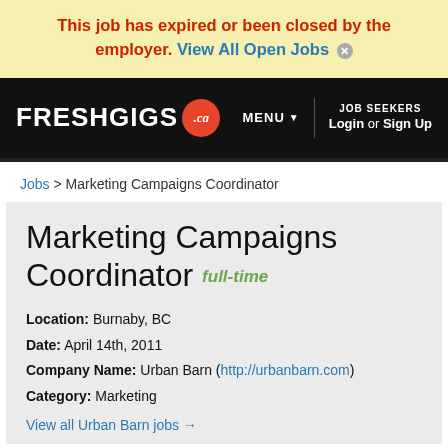This job has expired or been closed by the employer. View All Open Jobs ×
[Figure (logo): FreshGigs.ca logo on black navigation bar with MENU dropdown and JOB SEEKERS Login or Sign Up links]
Jobs > Marketing Campaigns Coordinator
Marketing Campaigns Coordinator  full-time
Location: Burnaby, BC
Date: April 14th, 2011
Company Name: Urban Barn (http://urbanbarn.com)
Category: Marketing
View all Urban Barn jobs →